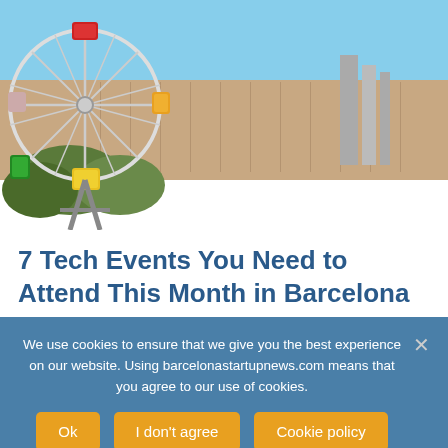[Figure (photo): Aerial view of Barcelona cityscape with a ferris wheel in the foreground showing colorful gondolas (red, yellow, green) and the dense city grid extending to the sea and mountains in the background under a blue sky.]
7 Tech Events You Need to Attend This Month in Barcelona
We use cookies to ensure that we give you the best experience on our website. Using barcelonastartupnews.com means that you agree to our use of cookies.